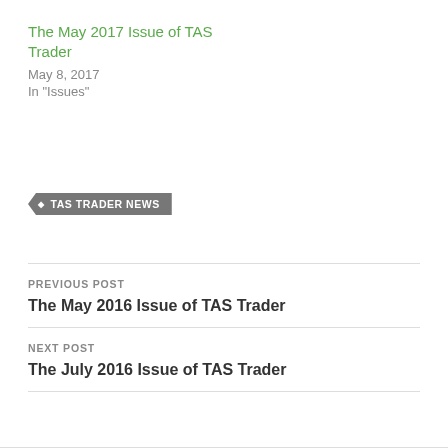The May 2017 Issue of TAS Trader
May 8, 2017
In "Issues"
TAS TRADER NEWS
PREVIOUS POST
The May 2016 Issue of TAS Trader
NEXT POST
The July 2016 Issue of TAS Trader